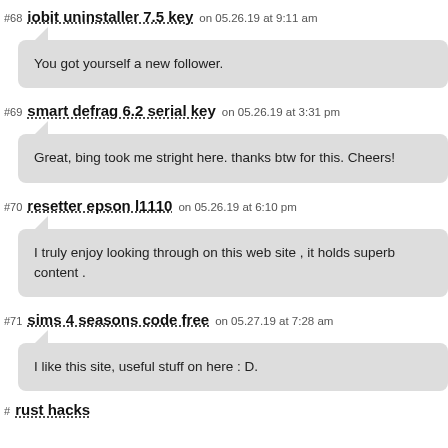#68 iobit uninstaller 7.5 key on 05.26.19 at 9:11 am
You got yourself a new follower.
#69 smart defrag 6.2 serial key on 05.26.19 at 3:31 pm
Great, bing took me stright here. thanks btw for this. Cheers!
#70 resetter epson l1110 on 05.26.19 at 6:10 pm
I truly enjoy looking through on this web site , it holds superb content .
#71 sims 4 seasons code free on 05.27.19 at 7:28 am
I like this site, useful stuff on here : D.
#rust hacks